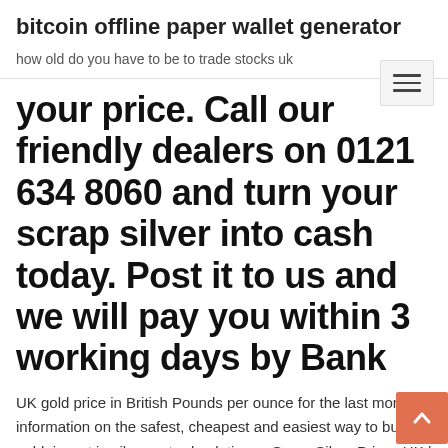bitcoin offline paper wallet generator
how old do you have to be to trade stocks uk
your price. Call our friendly dealers on 0121 634 8060 and turn your scrap silver into cash today. Post it to us and we will pay you within 3 working days by Bank
UK gold price in British Pounds per ounce for the last month. information on the safest, cheapest and easiest way to buy gold, invest in silver or trade platinum. Scrap Silver Prices UK |